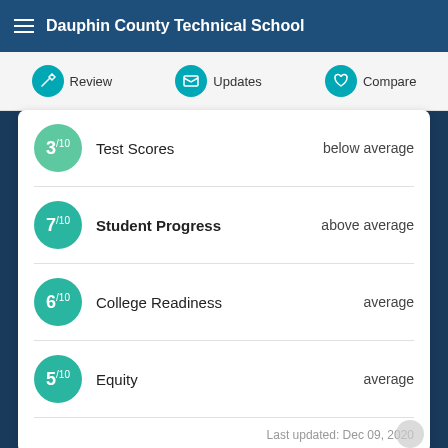Dauphin County Technical School
Review   Updates   Compare
| Score | Category | Rating |
| --- | --- | --- |
| 3/10 | Test Scores | below average |
| 7/10 | Student Progress | above average |
| 6/10 | College Readiness | average |
| 5/10 | Equity | average |
Last updated: Dec 09, 2020